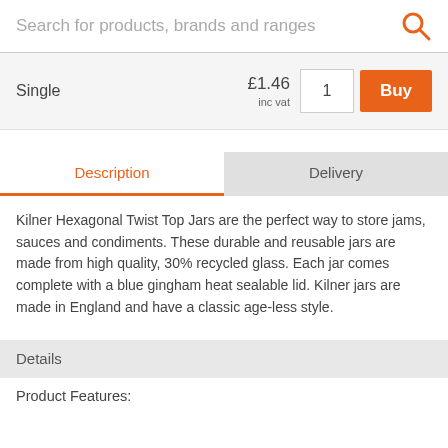Search for products, brands and ranges
Single  £1.46  inc vat  1  Buy
Description
Delivery
Kilner Hexagonal Twist Top Jars are the perfect way to store jams, sauces and condiments. These durable and reusable jars are made from high quality, 30% recycled glass. Each jar comes complete with a blue gingham heat sealable lid. Kilner jars are made in England and have a classic age-less style.
Details
Product Features: